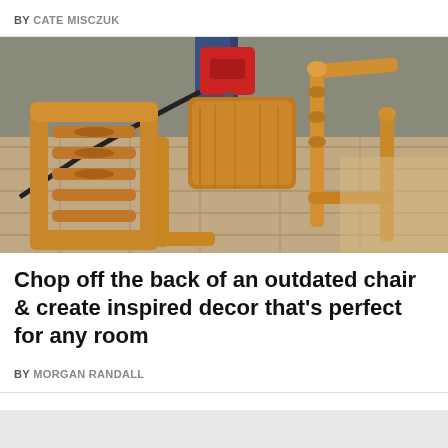BY CATE MISCZUK
[Figure (photo): A wooden chair disassembled on a stone/tile floor, with the ornate carved back separated from the seat and legs. A person's legs and a power jigsaw tool are visible in the background.]
Chop off the back of an outdated chair & create inspired decor that's perfect for any room
BY MORGAN RANDALL